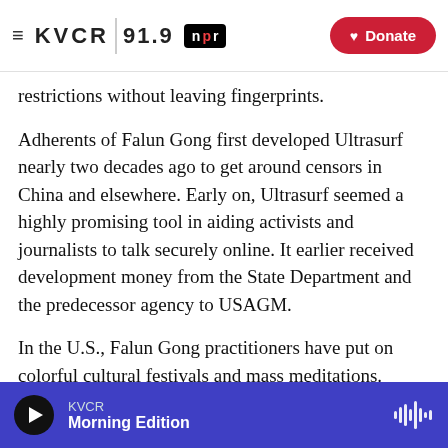KVCR 91.9 NPR | Donate
restrictions without leaving fingerprints.
Adherents of Falun Gong first developed Ultrasurf nearly two decades ago to get around censors in China and elsewhere. Early on, Ultrasurf seemed a highly promising tool in aiding activists and journalists to talk securely online. It earlier received development money from the State Department and the predecessor agency to USAGM.
In the U.S., Falun Gong practitioners have put on colorful cultural festivals and mass meditations. They've also proselytized its beliefs, which largely
KVCR Morning Edition